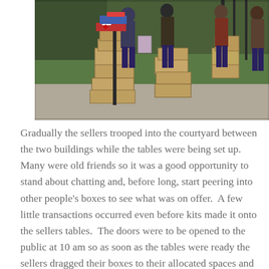[Figure (photo): Outdoor scene showing people standing around stacks of cardboard boxes on a gravel path, with grass and trees in the background. Boxes contain book kits and other items. Several people are visible handling boxes and bags.]
Gradually the sellers trooped into the courtyard between the two buildings while the tables were being set up.  Many were old friends so it was a good opportunity to stand about chatting and, before long, start peering into other people's boxes to see what was on offer.  A few little transactions occurred even before kits made it onto the sellers tables.  The doors were to be opened to the public at 10 am so as soon as the tables were ready the sellers dragged their boxes to their allocated spaces and began piling up their booty.  Terry and Wayne found their spot and emptied their boxes of orphan kits onto their table, by the time they had finished it was hard to see them behind their